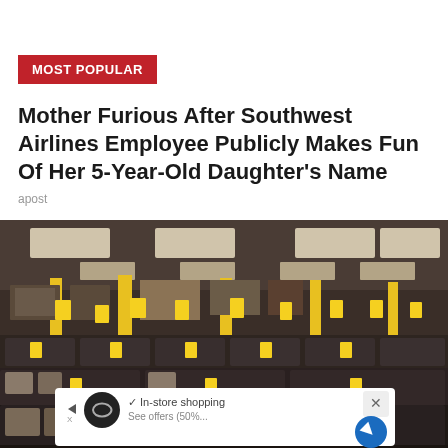MOST POPULAR
Mother Furious After Southwest Airlines Employee Publicly Makes Fun Of Her 5-Year-Old Daughter's Name
apost
[Figure (photo): Interior of a large furniture store showroom with rows of dark sofas and sectionals, yellow price tags on display, overhead fluorescent lighting, rug and art displays along the back walls. An advertisement overlay is visible at the bottom showing 'In-store shopping' with a close button (X) and navigation icons.]